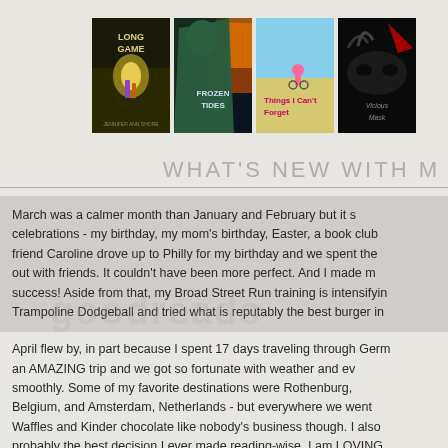[Figure (illustration): Row of four book covers: 'Long Game', 'Frozen Tides', 'Things I Can't Forget', and 'The Vicious Mask']
WHAT'S NEW WITH M
March was a calmer month than January and February but it s celebrations - my birthday, my mom's birthday, Easter, a book club friend Caroline drove up to Philly for my birthday and we spent the out with friends. It couldn't have been more perfect. And I made m success! Aside from that, my Broad Street Run training is intensifyin Trampoline Dodgeball and tried what is reputably the best burger in
April flew by, in part because I spent 17 days traveling through Germ an AMAZING trip and we got so fortunate with weather and ev smoothly. Some of my favorite destinations were Rothenburg, Belgium, and Amsterdam, Netherlands - but everywhere we went Waffles and Kinder chocolate like nobody's business though. I also probably the best decision I ever made reading-wise. I am LOVING